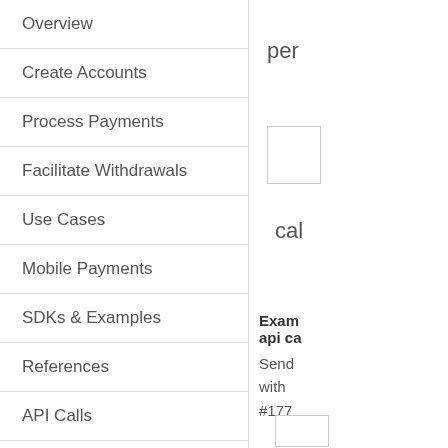Overview
Create Accounts
Process Payments
Facilitate Withdrawals
Use Cases
Mobile Payments
SDKs & Examples
References
API Calls
Support
per
cal
Example api ca
Send with #177